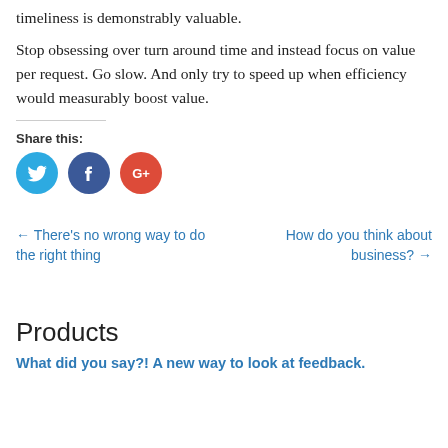timeliness is demonstrably valuable.
Stop obsessing over turn around time and instead focus on value per request. Go slow. And only try to speed up when efficiency would measurably boost value.
Share this:
[Figure (other): Social share icons: Twitter (blue circle), Facebook (dark blue circle with f), Google+ (red circle with G+)]
← There's no wrong way to do the right thing
How do you think about business? →
Products
What did you say?! A new way to look at feedback.